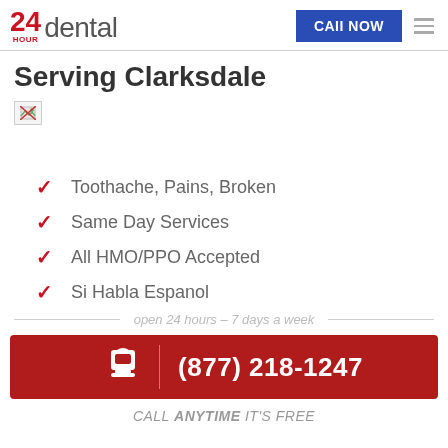24 HOUR dental | CALL NOW
Serving Clarksdale
[Figure (photo): Small broken/missing image placeholder]
Toothache, Pains, Broken
Same Day Services
All HMO/PPO Accepted
Si Habla Espanol
open 24 hours – 7 days a week
(877) 218-1247
CALL ANYTIME IT'S FREE